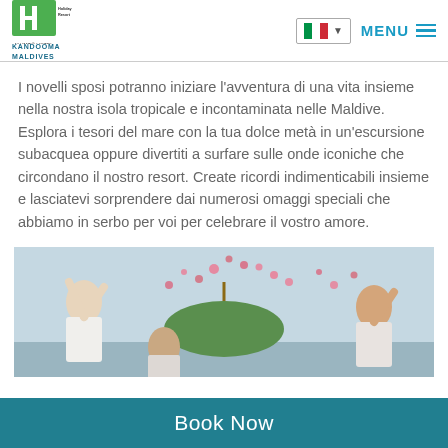[Figure (logo): Holiday Inn Resort logo with IHG branding and 'Kandooma Maldives' text]
[Figure (screenshot): Language selector showing Italian flag with dropdown arrow, and MENU button with hamburger icon]
I novelli sposi potranno iniziare l'avventura di una vita insieme nella nostra isola tropicale e incontaminata nelle Maldive. Esplora i tesori del mare con la tua dolce metà in un'escursione subacquea oppure divertiti a surfare sulle onde iconiche che circondano il nostro resort. Create ricordi indimenticabili insieme e lasciatevi sorprendere dai numerosi omaggi speciali che abbiamo in serbo per voi per celebrare il vostro amore.
[Figure (photo): People throwing pink flower petals in the air outdoors, with a decorated umbrella visible, at a tropical resort celebration]
Book Now